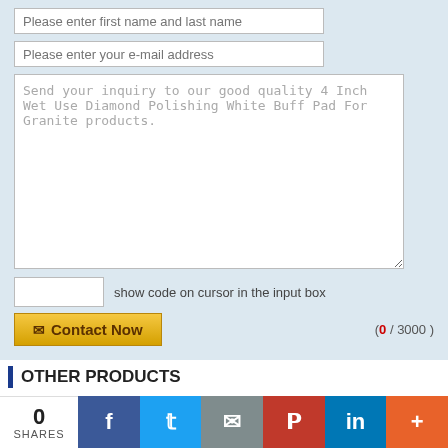Please enter first name and last name
Please enter your e-mail address
Send your inquiry to our good quality 4 Inch Wet Use Diamond Polishing White Buff Pad For Granite products.
show code on cursor in the input box
( 0 / 3000 )
Contact Now
OTHER PRODUCTS
[Figure (screenshot): Two product banner images showing Luoyang/manufacturer brand logos with star and certification badges on blue background]
0 SHARES